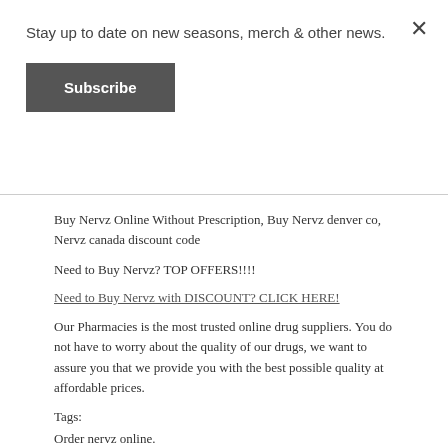Stay up to date on new seasons, merch & other news.
Subscribe
Buy Nervz Online Without Prescription, Buy Nervz denver co, Nervz canada discount code
Need to Buy Nervz? TOP OFFERS!!!!
Need to Buy Nervz with DISCOUNT? CLICK HERE!
Our Pharmacies is the most trusted online drug suppliers. You do not have to worry about the quality of our drugs, we want to assure you that we provide you with the best possible quality at affordable prices.
Tags:
Order nervz online.
Nervz no prescription
Online order nervz without prescription
, buy nervz online without a prescription
Order prescription free nervz